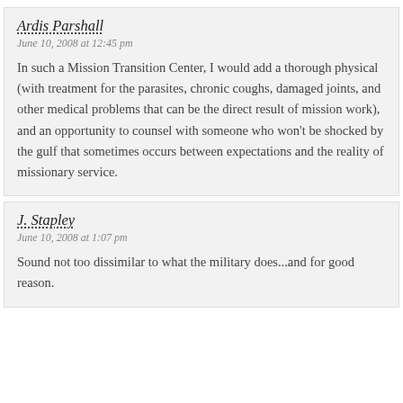Ardis Parshall
June 10, 2008 at 12:45 pm
In such a Mission Transition Center, I would add a thorough physical (with treatment for the parasites, chronic coughs, damaged joints, and other medical problems that can be the direct result of mission work), and an opportunity to counsel with someone who won't be shocked by the gulf that sometimes occurs between expectations and the reality of missionary service.
J. Stapley
June 10, 2008 at 1:07 pm
Sound not too dissimilar to what the military does...and for good reason.